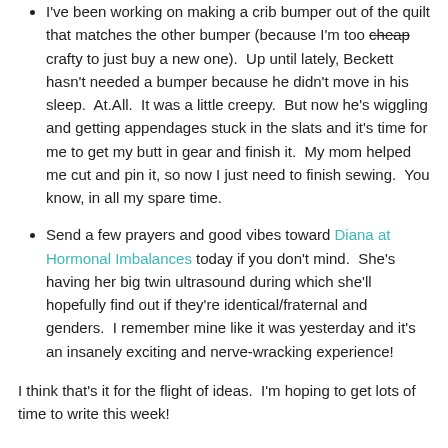I've been working on making a crib bumper out of the quilt that matches the other bumper (because I'm too cheap crafty to just buy a new one).  Up until lately, Beckett hasn't needed a bumper because he didn't move in his sleep.  At.All.  It was a little creepy.  But now he's wiggling and getting appendages stuck in the slats and it's time for me to get my butt in gear and finish it.  My mom helped me cut and pin it, so now I just need to finish sewing.  You know, in all my spare time.
Send a few prayers and good vibes toward Diana at Hormonal Imbalances today if you don't mind.  She's having her big twin ultrasound during which she'll hopefully find out if they're identical/fraternal and genders.  I remember mine like it was yesterday and it's an insanely exciting and nerve-wracking experience!
I think that's it for the flight of ideas.  I'm hoping to get lots of time to write this week!